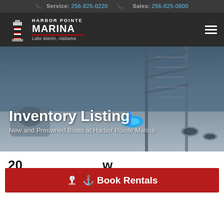Service: 256-825-0220   Sales: 256-825-0600
[Figure (logo): Harbor Pointe Marina logo with lighthouse icon, text Harbor Pointe Marina, Lake Martin, Alabama]
[Figure (photo): Hero image of boat deck with blue LED lighting, tower structure, water in background]
Inventory Listing
New and Preowned Boats at Harbor Pointe Marina
20... ...w
29... Stock # S66100D1...
Book Rentals